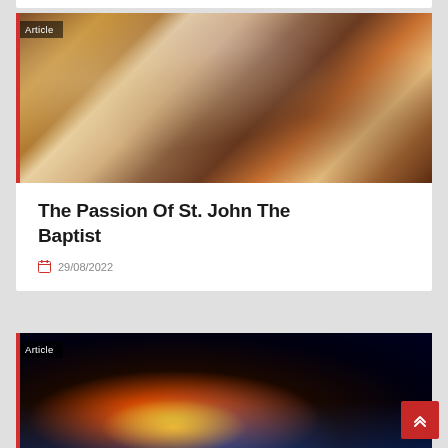[Figure (illustration): Article card with a Baroque-style painting showing elegantly dressed figures in a historical scene. Red 'Article' badge overlay at top left.]
The Passion Of St. John The Baptist
29/08/2022
[Figure (photo): Article card with a photograph of Earth from space showing a sunrise/sunset with glowing orange light on the horizon and a dark starry sky. Red 'Article' badge overlay at top left.]